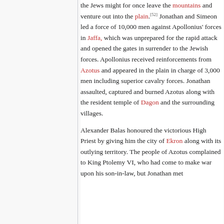the Jews might for once leave the mountains and venture out into the plain.[52] Jonathan and Simeon led a force of 10,000 men against Apollonius' forces in Jaffa, which was unprepared for the rapid attack and opened the gates in surrender to the Jewish forces. Apollonius received reinforcements from Azotus and appeared in the plain in charge of 3,000 men including superior cavalry forces. Jonathan assaulted, captured and burned Azotus along with the resident temple of Dagon and the surrounding villages.
Alexander Balas honoured the victorious High Priest by giving him the city of Ekron along with its outlying territory. The people of Azotus complained to King Ptolemy VI, who had come to make war upon his son-in-law, but Jonathan met